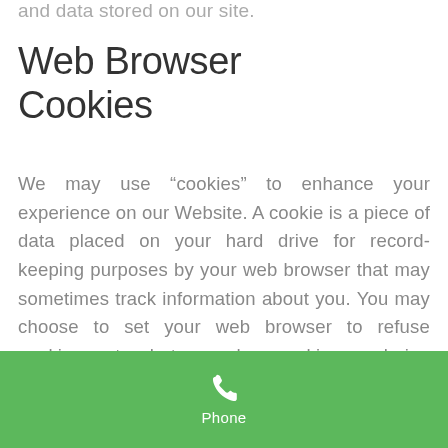and data stored on our site.
Web Browser Cookies
We may use “cookies” to enhance your experience on our Website. A cookie is a piece of data placed on your hard drive for record-keeping purposes by your web browser that may sometimes track information about you. You may choose to set your web browser to refuse cookies or to alert you when cookies are being sent. If you do so, note that some parts of the Site may not function properly. Usage of a cookie is in no way linked to any personally identifiable information on our site.
[Figure (other): Green button bar with phone icon and label 'Phone']